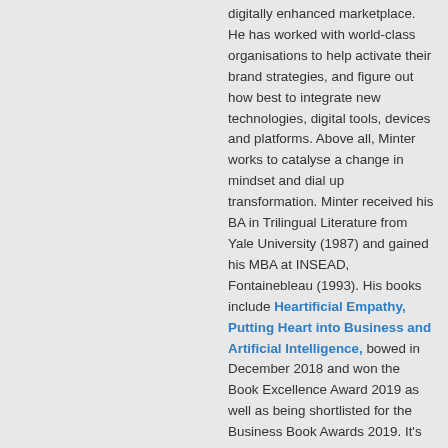digitally enhanced marketplace. He has worked with world-class organisations to help activate their brand strategies, and figure out how best to integrate new technologies, digital tools, devices and platforms. Above all, Minter works to catalyse a change in mindset and dial up transformation. Minter received his BA in Trilingual Literature from Yale University (1987) and gained his MBA at INSEAD, Fontainebleau (1993). His books include Heartificial Empathy, Putting Heart into Business and Artificial Intelligence, bowed in December 2018 and won the Book Excellence Award 2019 as well as being shortlisted for the Business Book Awards 2019. It's available in Audiobook, Kindle and Paperback. He is also co-author of Futureproof (Pearson, Sep 2017) and sole author of The Last Ring Home (Myndset Press, Nov 2016), a book and documentary film, both of which have won awards and critical acclaim. Minter's latest book, You Lead, How being yourself makes you a better leader, published by Kogan Page, won the Business Book